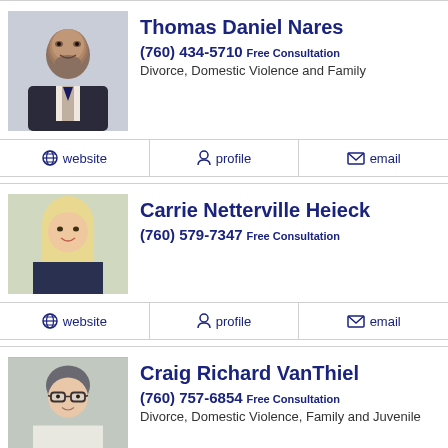[Figure (photo): Headshot photo of Thomas Daniel Nares, a bald man with a beard wearing a suit]
Thomas Daniel Nares
(760) 434-5710 Free Consultation
Divorce, Domestic Violence and Family
website | profile | email
[Figure (photo): Headshot photo of Carrie Netterville Heieck, a blonde woman smiling]
Carrie Netterville Heieck
(760) 579-7347 Free Consultation
website | profile | email
[Figure (photo): Headshot photo of Craig Richard VanThiel, a man with glasses]
Craig Richard VanThiel
(760) 757-6854 Free Consultation
Divorce, Domestic Violence, Family and Juvenile